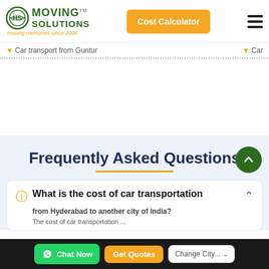Moving Solutions - moving memories since 2006 | Cost Calculator
Car transport from Guntur | Car ...
Frequently Asked Questions
What is the cost of car transportation from Hyderabad to another city of India?
The cost of car transportation ...
Chat Now | Get Quotes | Change City...